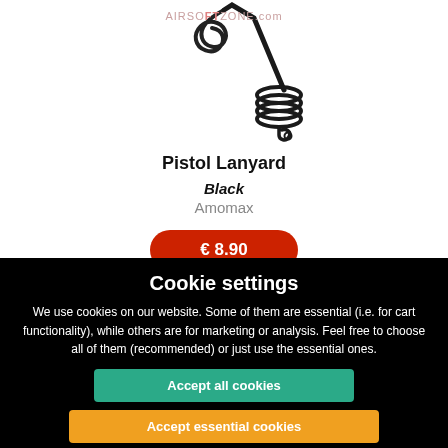[Figure (photo): Product photo of a black coiled pistol lanyard with a loop at the end, on white background. Watermark 'AIRSOFTZONE.com' visible.]
Pistol Lanyard
Black
Amomax
€ 8.90
in stock
Cookie settings
We use cookies on our website. Some of them are essential (i.e. for cart functionality), while others are for marketing or analysis. Feel free to choose all of them (recommended) or just use the essential ones.
Accept all cookies
Accept essential cookies
Refuse cookies